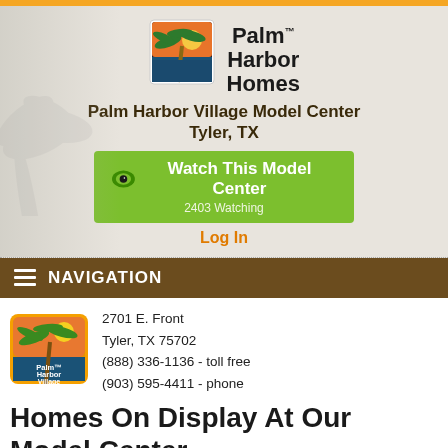[Figure (logo): Palm Harbor Homes logo with palm tree icon and brand name]
Palm Harbor Village Model Center
Tyler, TX
[Figure (other): Green 'Watch This Model Center' button with eye icon, showing 2403 Watching]
Log In
NAVIGATION
[Figure (logo): Palm Harbor Village dealer logo with palm tree]
2701 E. Front
Tyler, TX 75702
(888) 336-1136 - toll free
(903) 595-4411 - phone
Homes On Display At Our Model Center
Manufactured Model Homes to Tour at This Model Center
See beautiful pictures, videos and prices of new manufactured homes and modular homes on display now at our model center. Just click on a home